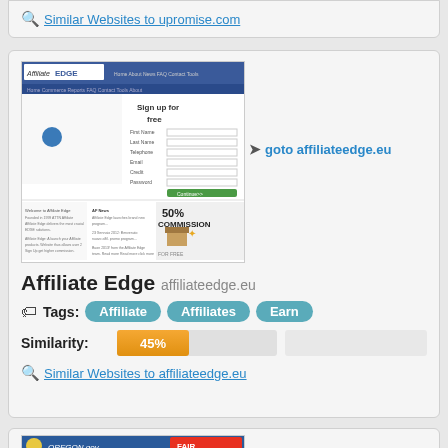Similar Websites to upromise.com
[Figure (screenshot): Screenshot of affiliateedge.eu website showing Affiliate Edge branding with sign up form and 50% commission banner]
goto affiliateedge.eu
Affiliate Edge affiliateedge.eu
Tags: Affiliate  Affiliates  Earn
Similarity: 45%
Similar Websites to affiliateedge.eu
[Figure (screenshot): Screenshot of oregon.gov website showing Oregon state government page with fair logo]